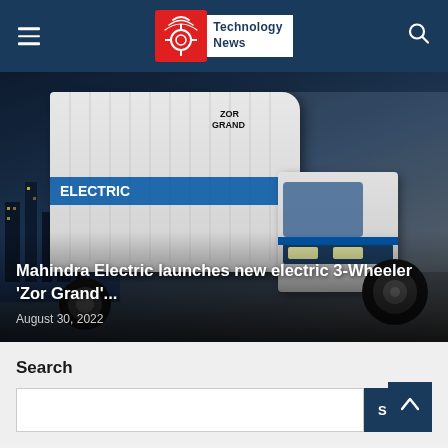Technology News
[Figure (photo): Mahindra Electric Zor Grand electric 3-wheeler cargo vehicle displayed at a product launch event, white and blue in color, against a dark blue display backdrop with branding graphics.]
Mahindra Electric launches new electric 3-Wheeler 'Zor Grand'...
August 30, 2022
Search